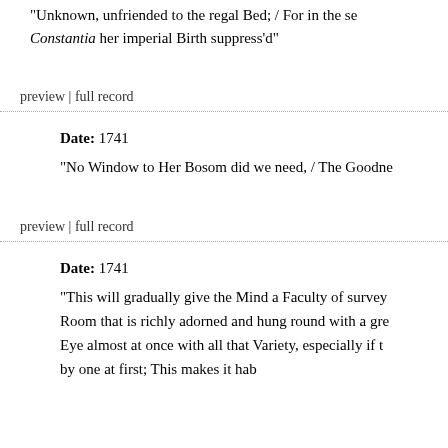"Unknown, unfriended to the regal Bed; / For in the se... Constantia her imperial Birth suppress'd"
preview | full record
Date: 1741
"No Window to Her Bosom did we need, / The Goodne...
preview | full record
Date: 1741
"This will gradually give the Mind a Faculty of survey... Room that is richly adorned and hung round with a gre... Eye almost at once with all that Variety, especially if t... by one at first; This makes it hab...